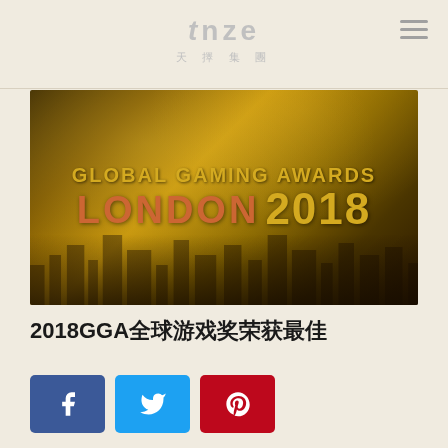tnze 天擇集團
[Figure (photo): Global Gaming Awards London 2018 promotional image with golden city skyline overlay showing text: GLOBAL GAMING AWARDS LONDON 2018]
2018GGA全球游戏奖荣获最佳
[Figure (infographic): Social sharing buttons: Facebook (blue), Twitter (blue), Pinterest (red)]